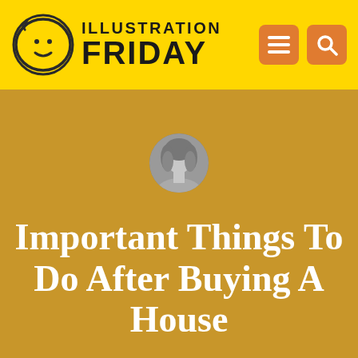ILLUSTRATION FRIDAY
[Figure (photo): Circular black and white portrait photo of a woman with wavy blonde hair]
Important Things To Do After Buying A House